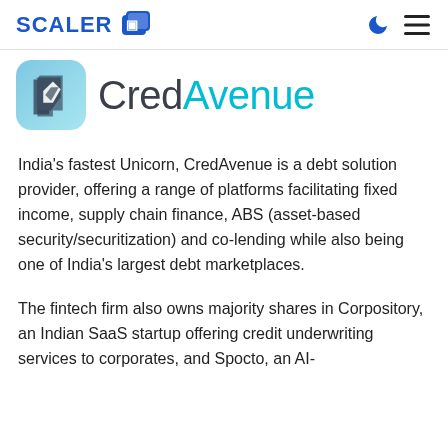SCALER [logo icon] [moon icon] [hamburger menu]
[Figure (logo): CredAvenue logo: blue/teal rounded square app icon with a white checkmark/cursor symbol, next to the wordmark 'CredAvenue' in dark gray and teal]
India's fastest Unicorn, CredAvenue is a debt solution provider, offering a range of platforms facilitating fixed income, supply chain finance, ABS (asset-based security/securitization) and co-lending while also being one of India's largest debt marketplaces.
The fintech firm also owns majority shares in Corpository, an Indian SaaS startup offering credit underwriting services to corporates, and Spocto, an AI-